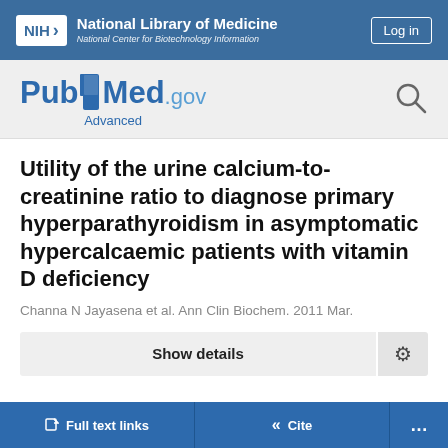NIH National Library of Medicine National Center for Biotechnology Information
[Figure (logo): PubMed.gov logo with search icon and Advanced link]
Utility of the urine calcium-to-creatinine ratio to diagnose primary hyperparathyroidism in asymptomatic hypercalcaemic patients with vitamin D deficiency
Channa N Jayasena et al. Ann Clin Biochem. 2011 Mar.
Show details
Full text links
Cite